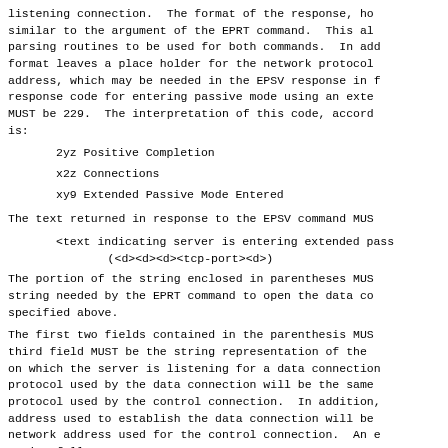listening connection.  The format of the response, ho similar to the argument of the EPRT command.  This al parsing routines to be used for both commands.  In add format leaves a place holder for the network protocol address, which may be needed in the EPSV response in t response code for entering passive mode using an exte MUST be 229.  The interpretation of this code, accord is:
2yz Positive Completion
x2z Connections
xy9 Extended Passive Mode Entered
The text returned in response to the EPSV command MUS
<text indicating server is entering extended pass
    (<d><d><d><tcp-port><d>)
The portion of the string enclosed in parentheses MUS string needed by the EPRT command to open the data co specified above.
The first two fields contained in the parenthesis MUS third field MUST be the string representation of the on which the server is listening for a data connection protocol used by the data connection will be the same protocol used by the control connection.  In addition, address used to establish the data connection will be network address used for the control connection.  An e string follows: